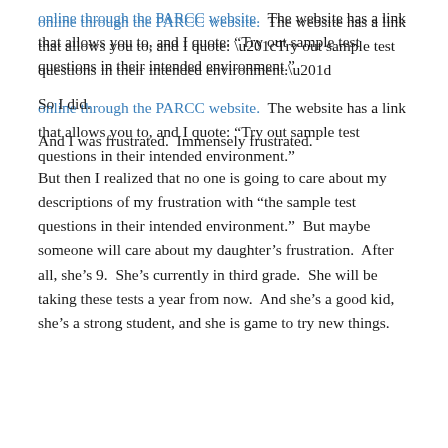online through the PARCC website.  The website has a link that allows you to, and I quote: “Try out sample test questions in their intended environment.”
So I did.
And I was frustrated.  Immensely frustrated.
But then I realized that no one is going to care about my descriptions of my frustration with “the sample test questions in their intended environment.”  But maybe someone will care about my daughter’s frustration.  After all, she’s 9.  She’s currently in third grade.  She will be taking these tests a year from now.  And she’s a good kid, she’s a strong student, and she is game to try new things.